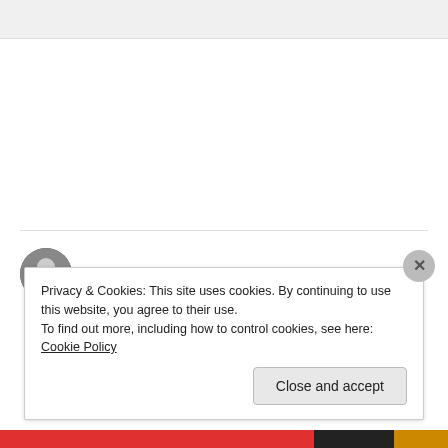margieinitaly on March 12, 2016 at 5:29 pm
A fascinating place and I see the tower you mentioned. Amazing that part of this town is replicated in LegoLand
Like
Privacy & Cookies: This site uses cookies. By continuing to use this website, you agree to their use.
To find out more, including how to control cookies, see here: Cookie Policy
Close and accept